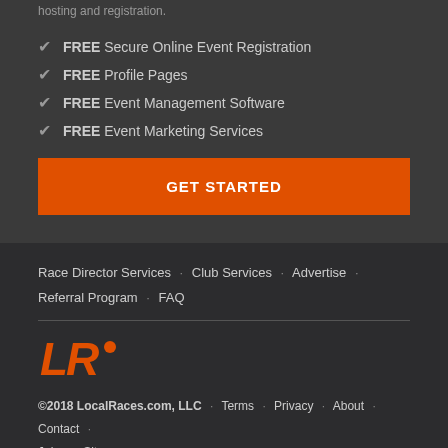hosting and registration.
FREE Secure Online Event Registration
FREE Profile Pages
FREE Event Management Software
FREE Event Marketing Services
GET STARTED
Race Director Services · Club Services · Advertise · Referral Program · FAQ
[Figure (logo): LR logo in orange]
©2018 LocalRaces.com, LLC · Terms · Privacy · About · Contact · Jobs · Sitemap
[Figure (illustration): Facebook and Twitter social media icon buttons]